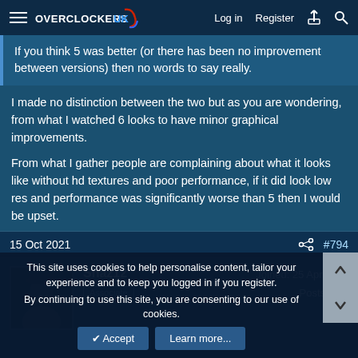Overclockers UK — Log in | Register
If you think 5 was better (or there has been no improvement between versions) then no words to say really.
I made no distinction between the two but as you are wondering, from what I watched 6 looks to have minor graphical improvements.

From what I gather people are complaining about what it looks like without hd textures and poor performance, if it did look low res and performance was significantly worse than 5 then I would be upset.
15 Oct 2021  #794
Shaz12
Associate
Joined: 25 Apr 2017
Posts: 848
This site uses cookies to help personalise content, tailor your experience and to keep you logged in if you register.
By continuing to use this site, you are consenting to our use of cookies.